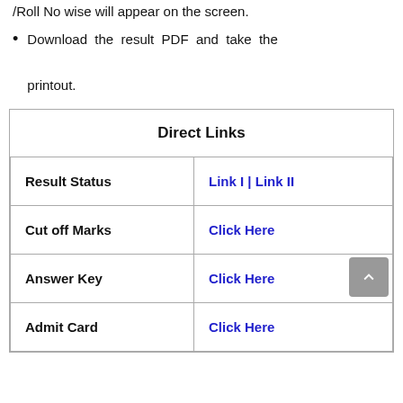/Roll No wise will appear on the screen.
Download the result PDF and take the printout.
| Direct Links |  |
| --- | --- |
| Result Status | Link I | Link II |
| Cut off Marks | Click Here |
| Answer Key | Click Here |
| Admit Card | Click Here |